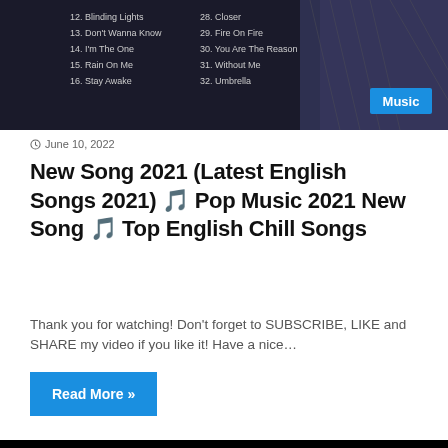[Figure (screenshot): Dark background image showing a song playlist with numbered songs (12. Blinding Lights, 13. Don't Wanna Know, 14. I'm The One, 15. Rain On Me, 16. Stay Awake on left; 28. Closer, 29. Fire On Fire, 30. You Are The Reason, 31. Without Me, 32. Umbrella on right) and a blue 'Music' label badge, with a person in knit sweater partially visible.]
June 10, 2022
New Song 2021 (Latest English Songs 2021) 🎵 Pop Music 2021 New Song 🎵 Top English Chill Songs
Thank you for watching! Don't forget to SUBSCRIBE, LIKE and SHARE my video if you like it! Have a nice…
Read More »
[Figure (screenshot): Dark/black background image showing 'TOP MUSIC COLLECTION 2020' title in yellow/gold text, followed by a numbered list: 1. Lose you to love me, 2. Memories, 3. Monkey Dance, 4. 7 years, 5. You are the reason, 6. I took a pill in Ibiza, 7. Some one you Loved, 8. Are you with me, 9. Umbrella]